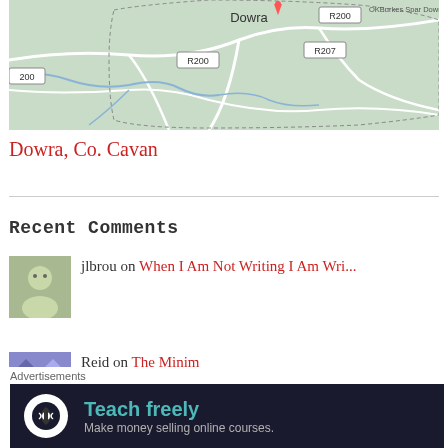[Figure (map): Street map showing Dowra area in County Cavan, Ireland, with road labels R200 and R207, blue river lines, and dotted boundary lines on a light green background.]
Dowra, Co. Cavan
Recent Comments
jlbrou on When I Am Not Writing I Am Wri...
Reid on The Minim
Advertisements
Teach freely Make money selling online courses.